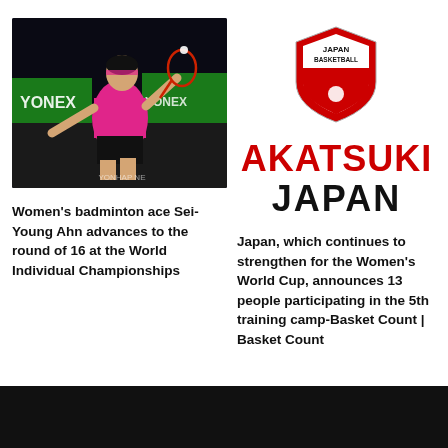[Figure (photo): Badminton player Sei-Young Ahn in a pink uniform lunging for a shot on court, with YONEX banners in the background and YONHAP NEWS watermark]
[Figure (logo): Japan Basketball Akatsuki Japan shield logo in red and black]
Women's badminton ace Sei-Young Ahn advances to the round of 16 at the World Individual Championships
Japan, which continues to strengthen for the Women's World Cup, announces 13 people participating in the 5th training camp-Basket Count | Basket Count